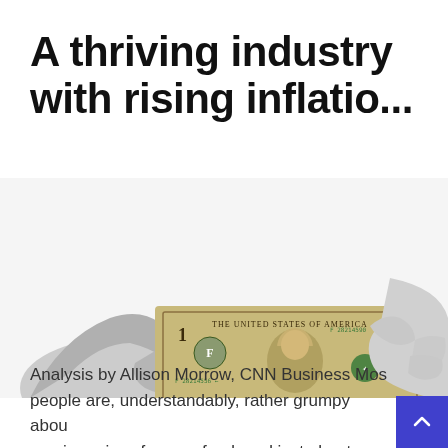A thriving industry with rising inflatio...
[Figure (photo): Two hands (grayscale) holding a US one dollar bill between them, photographed on a white background.]
Analysis by Allison Morrow, CNN Business Most people are, understandably, rather grumpy about soaring prices for gas, food, and just about every